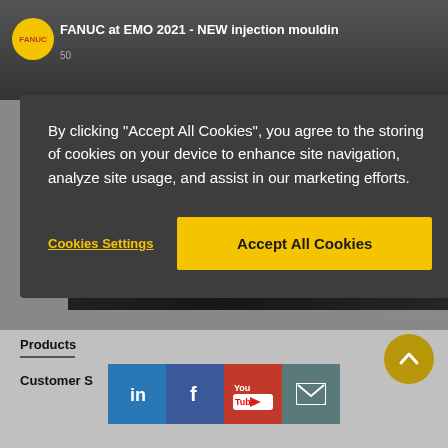[Figure (screenshot): FANUC website screenshot showing a YouTube video thumbnail with 'FANUC at EMO 2021 - NEW injection mouldin...' title, with a cookie consent overlay dialog. Below shows footer with Products, Customer S(ervice) links and social media icons (LinkedIn, Facebook, YouTube, email).]
By clicking “Accept All Cookies”, you agree to the storing of cookies on your device to enhance site navigation, analyze site usage, and assist in our marketing efforts.
Cookies Settings
Accept All Cookies
Watch on YouTube
Products
Customer S